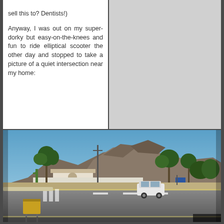sell this to? Dentists!)

Anyway, I was out on my super-dorky but easy-on-the-knees and fun to ride elliptical scooter the other day and stopped to take a picture of a quiet intersection near my home:
[Figure (photo): Street-level photo of a quiet desert intersection in what appears to be a Phoenix/Scottsdale Arizona neighborhood. Blue sky, palm trees, desert mountains (Camelback Mountain area) in the background, a white SUV on the road, a real estate sign in the foreground, and desert landscaping visible.]